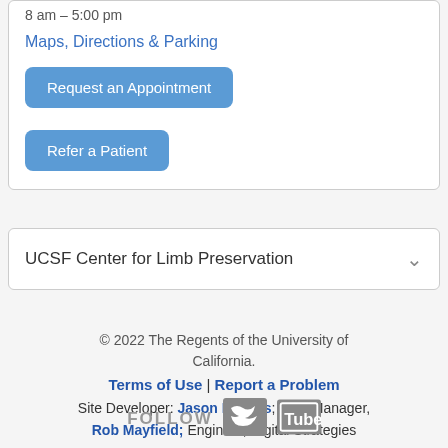8 am – 5:00 pm
Maps, Directions & Parking
Request an Appointment
Refer a Patient
UCSF Center for Limb Preservation
© 2022 The Regents of the University of California.
Terms of Use | Report a Problem
Site Developer: Jason Powers; Web Manager, Rob Mayfield; Engineer, Digital Strategies
FOLLOW